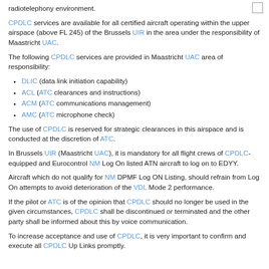radiotelephony environment.
CPDLC services are available for all certified aircraft operating within the upper airspace (above FL 245) of the Brussels UIR in the area under the responsibility of Maastricht UAC.
The following CPDLC services are provided in Maastricht UAC area of responsibility:
DLIC (data link initiation capability)
ACL (ATC clearances and instructions)
ACM (ATC communications management)
AMC (ATC microphone check)
The use of CPDLC is reserved for strategic clearances in this airspace and is conducted at the discretion of ATC.
In Brussels UIR (Maastricht UAC), it is mandatory for all flight crews of CPDLC-equipped and Eurocontrol NM Log On listed ATN aircraft to log on to EDYY.
Aircraft which do not qualify for NM DPMF Log ON Listing, should refrain from Log On attempts to avoid deterioration of the VDL Mode 2 performance.
If the pilot or ATC is of the opinion that CPDLC should no longer be used in the given circumstances, CPDLC shall be discontinued or terminated and the other party shall be informed about this by voice communication.
To increase acceptance and use of CPDLC, it is very important to confirm and execute all CPDLC Up Links promptly.